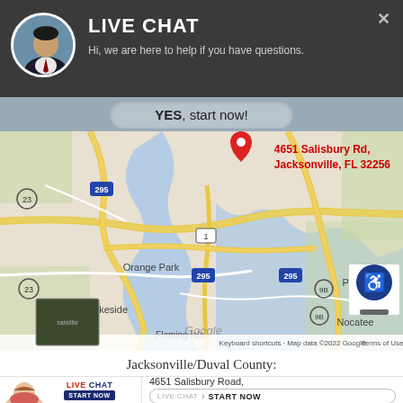[Figure (screenshot): Live chat popup header with avatar photo of man in suit, dark grey background, title LIVE CHAT, subtitle text, and close X button]
LIVE CHAT
Hi, we are here to help if you have questions.
YES, start now!
[Figure (map): Google Maps view of Jacksonville FL area showing roads, waterways, surrounding communities (Orange Park, Lakeside, Fleming Island, Palm Valley, Nocatee), with a red pin marker at 4651 Salisbury Rd, Jacksonville, FL 32256, plus a satellite view thumbnail, accessibility icon, and Google attribution]
4651 Salisbury Rd, Jacksonville, FL 32256
Jacksonville/Duval County:
[Figure (screenshot): Bottom live chat widget with woman photo on left, LIVE CHAT / START NOW branding, and address 4651 Salisbury Road with LIVE CHAT START NOW button on right]